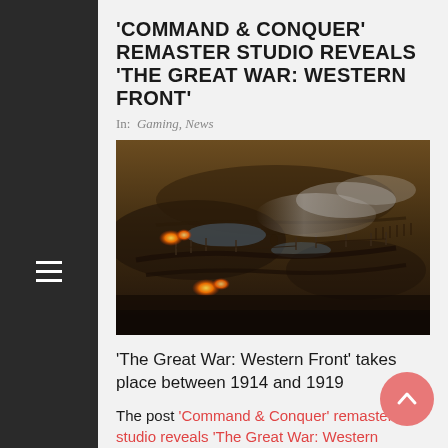'COMMAND & CONQUER' REMASTER STUDIO REVEALS 'THE GREAT WAR: WESTERN FRONT'
In: Gaming, News
[Figure (photo): Top-down view of a World War I battlefield game screenshot showing trenches, barbed wire, explosions and smoke across a dark muddy landscape.]
'The Great War: Western Front' takes place between 1914 and 1919
The post 'Command & Conquer' remaster studio reveals 'The Great War: Western…